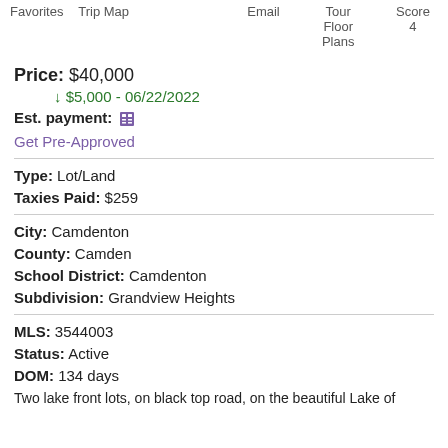Favorites  Trip Map  Email  Tour Floor Plans  Score 4
Price: $40,000
↓ $5,000 - 06/22/2022
Est. payment: [calculator icon]
Get Pre-Approved
Type: Lot/Land
Taxies Paid: $259
City: Camdenton
County: Camden
School District: Camdenton
Subdivision: Grandview Heights
MLS: 3544003
Status: Active
DOM: 134 days
Two lake front lots, on black top road, on the beautiful Lake of